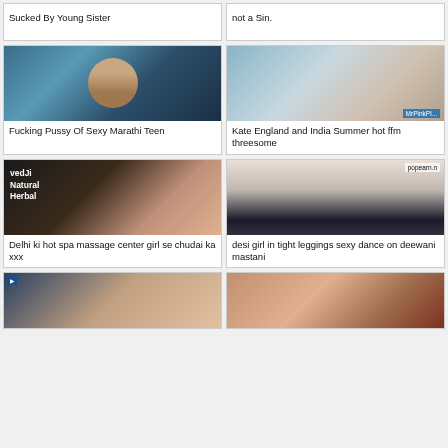Sucked By Young Sister
not a Sin.
[Figure (photo): Close-up of a person lying down]
Fucking Pussy Of Sexy Marathi Teen
[Figure (photo): Three people sitting on a couch]
Kate England and India Summer hot ffm threesome
[Figure (photo): Woman with vedJi Natural Herbal text overlay]
Delhi ki hot spa massage center girl se chudai ka xxx
[Figure (photo): Woman in black leggings dancing, popearn.n watermark]
desi girl in tight leggings sexy dance on deewani mastani
[Figure (photo): Partial photo at bottom left]
[Figure (photo): Partial close-up photo at bottom right]